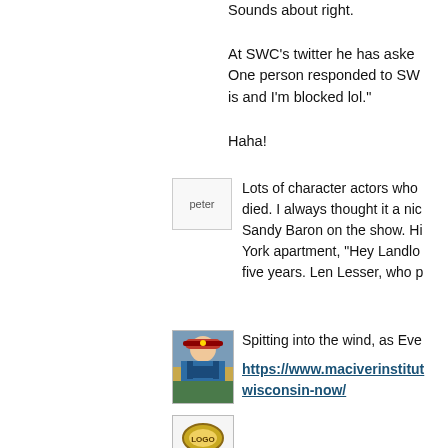Sounds about right.
At SWC's twitter he has asked... One person responded to SW... is and I'm blocked lol."
Haha!
[Figure (photo): Avatar placeholder image labeled 'peter']
Lots of character actors who died. I always thought it a nic... Sandy Baron on the show. Hi... York apartment, "Hey Landlo... five years. Len Lesser, who p...
[Figure (photo): Photo of a person in military/ceremonial uniform with sunglasses]
Spitting into the wind, as Eve...
https://www.maciverinstitut... wisconsin-now/
[Figure (logo): Logo image at bottom]